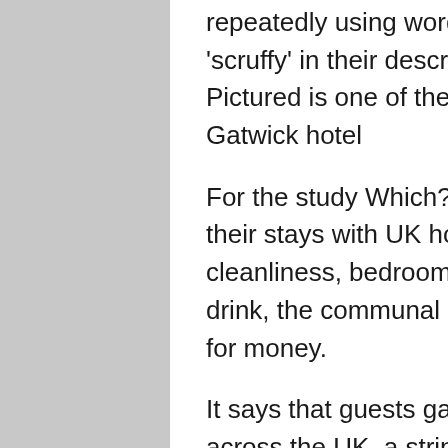repeatedly using words such as 'filthy', 'dreadful' and 'scruffy' in their descriptions of the chain's properties. Pictured is one of the light switches in Britannia's Gatwick hotel
For the study Which? surveyed 8,197 guests about their stays with UK hotel chains, asking them to assess cleanliness, bedrooms, bathrooms, the beds, food and drink, the communal areas, customer service and value for money.
It says that guests gave Britannia, which has 61 hotels across the UK, a string of one-star ratings in almost every category including value for money and food and drink – with an